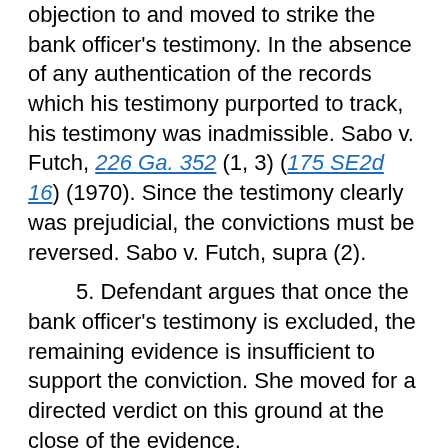objection to and moved to strike the bank officer's testimony. In the absence of any authentication of the records which his testimony purported to track, his testimony was inadmissible. Sabo v. Futch, 226 Ga. 352 (1, 3) (175 SE2d 16) (1970). Since the testimony clearly was prejudicial, the convictions must be reversed. Sabo v. Futch, supra (2).
5. Defendant argues that once the bank officer's testimony is excluded, the remaining evidence is insufficient to support the conviction. She moved for a directed verdict on this ground at the close of the evidence.
In Burks v. United States, 437 U.S. 1 (98 SC